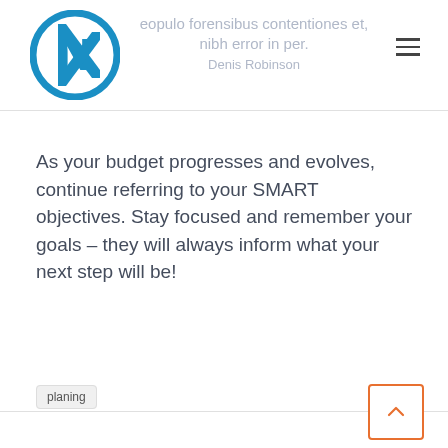eopulo forensibus contentiones et, nibh error in per. Denis Robinson
As your budget progresses and evolves, continue referring to your SMART objectives. Stay focused and remember your goals – they will always inform what your next step will be!
planing